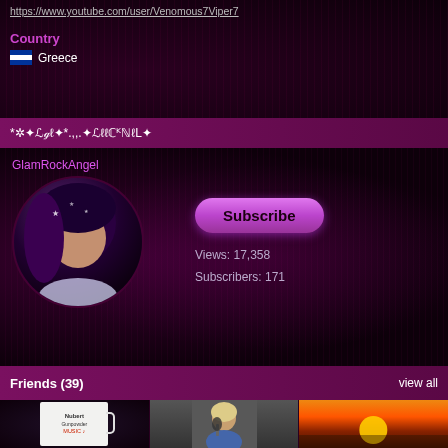https://www.youtube.com/user/Venomous7Viper7
Country
🇬🇷 Greece
*✲ℒℊℓϑ*.,,.✦ℒℓℓℓℂᴷℕℓL✦
GlamRockAngel
Subscribe
Views: 17,358
Subscribers: 171
Friends  (39)
view all
[Figure (screenshot): Three friend thumbnails: a mug with Nubert Gunpowder MUSIC text, a person with microphone, and a sunset image]